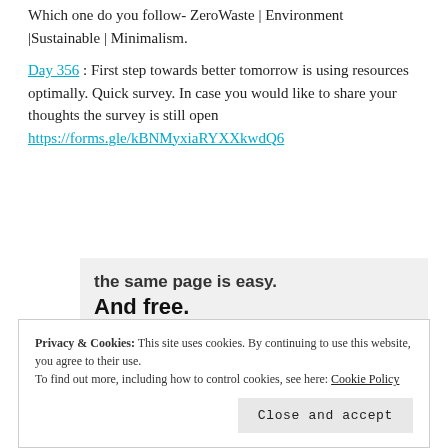Which one do you follow-  ZeroWaste | Environment |Sustainable | Minimalism.
Day 356 : First step towards better tomorrow is using resources optimally. Quick survey. In case you would like to share your thoughts the survey is still open https://forms.gle/kBNMyxiaRYXXkwdQ6
[Figure (screenshot): A promotional banner on a light gray background showing partial bold text 'the same page is easy. And free.' with three circular profile photo avatars and a blue plus button below.]
Privacy & Cookies: This site uses cookies. By continuing to use this website, you agree to their use.
To find out more, including how to control cookies, see here: Cookie Policy
Close and accept